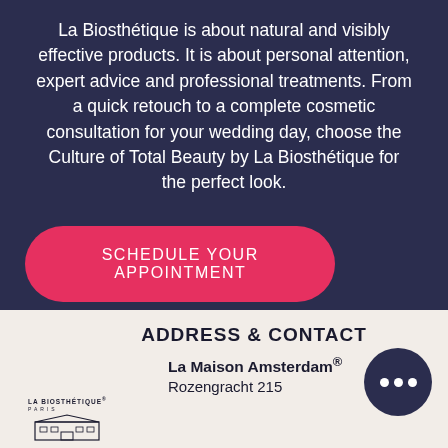La Biosthétique is about natural and visibly effective products. It is about personal attention, expert advice and professional treatments. From a quick retouch to a complete cosmetic consultation for your wedding day, choose the Culture of Total Beauty by La Biosthétique for the perfect look.
SCHEDULE YOUR APPOINTMENT
ADDRESS & CONTACT
La Maison Amsterdam®
Rozengracht 215
[Figure (logo): La Biosthétique Paris logo with building illustration]